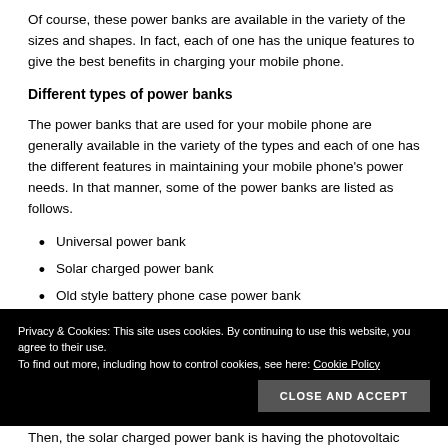Of course, these power banks are available in the variety of the sizes and shapes. In fact, each of one has the unique features to give the best benefits in charging your mobile phone.
Different types of power banks
The power banks that are used for your mobile phone are generally available in the variety of the types and each of one has the different features in maintaining your mobile phone's power needs. In that manner, some of the power banks are listed as follows.
Universal power bank
Solar charged power bank
Old style battery phone case power bank
Privacy & Cookies: This site uses cookies. By continuing to use this website, you agree to their use.
To find out more, including how to control cookies, see here: Cookie Policy
Then, the solar charged power bank is having the photovoltaic